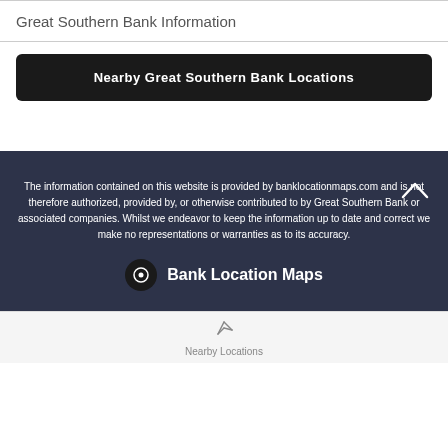Great Southern Bank Information
Nearby Great Southern Bank Locations
The information contained on this website is provided by banklocationmaps.com and is not therefore authorized, provided by, or otherwise contributed to by Great Southern Bank or associated companies. Whilst we endeavor to keep the information up to date and correct we make no representations or warranties as to its accuracy.
Bank Location Maps
Nearby Locations